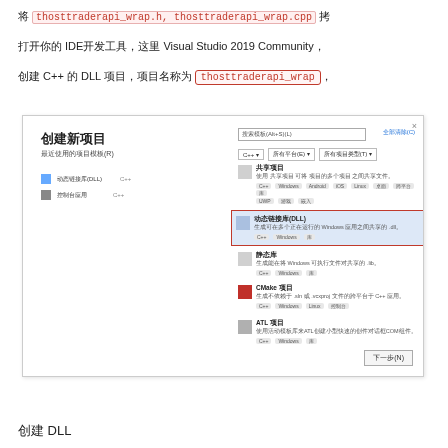将 thosttraderapi_wrap.h, thosttraderapi_wrap.cpp 拷
打开你的 IDE开发工具，这里 Visual Studio 2019 Community，
创建 C++ 的 DLL 项目，项目名称为 thosttraderapi_wrap，
[Figure (screenshot): Visual Studio 2019 Create New Project dialog showing DLL project template selected with red highlight box around 动态链接库(DLL) option]
创建 DLL